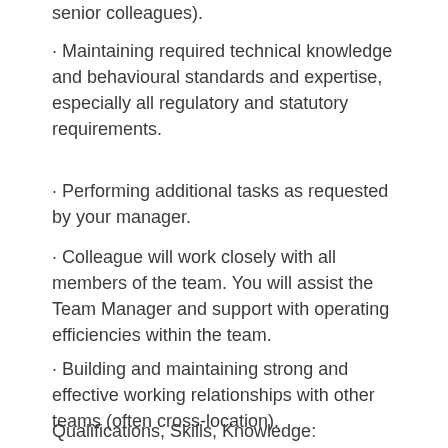· senior colleagues).
· Maintaining required technical knowledge and behavioural standards and expertise, especially all regulatory and statutory requirements.
· Performing additional tasks as requested by your manager.
· Colleague will work closely with all members of the team. You will assist the Team Manager and support with operating efficiencies within the team.
· Building and maintaining strong and effective working relationships with other teams (often cross-location).
Qualifications, Skills, Knowledge: